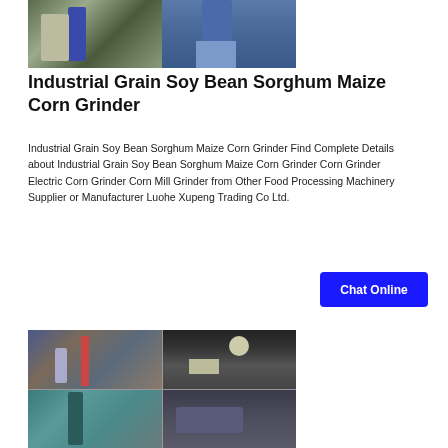[Figure (photo): Industrial grain processing machinery and equipment — two images side by side showing blue metal silos/columns and processing equipment in a factory setting]
Industrial Grain Soy Bean Sorghum Maize Corn Grinder
Industrial Grain Soy Bean Sorghum Maize Corn Grinder Find Complete Details about Industrial Grain Soy Bean Sorghum Maize Corn Grinder Corn Grinder Electric Corn Grinder Corn Mill Grinder from Other Food Processing Machinery Supplier or Manufacturer Luohe Xupeng Trading Co Ltd.
[Figure (other): Chat Online button — blue rectangle with white bold text]
[Figure (photo): Four-panel collage of industrial grain processing facility interior and exterior machinery including pipes, columns, and milling equipment]